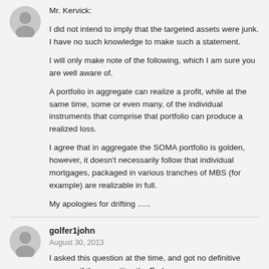[Figure (illustration): Gray avatar/user icon placeholder circle at top left]
Mr. Kervick:

I did not intend to imply that the targeted assets were junk. I have no such knowledge to make such a statement.

I will only make note of the following, which I am sure you are well aware of.

A portfolio in aggregate can realize a profit, while at the same time, some or even many, of the individual instruments that comprise that portfolio can produce a realized loss.

I agree that in aggregate the SOMA portfolio is golden, however, it doesn't necessarily follow that individual mortgages, packaged in various tranches of MBS (for example) are realizable in full.

My apologies for drifting …..
[Figure (illustration): Gray avatar/user icon placeholder circle for golfer1john]
golfer1john
August 30, 2013
I asked this question at the time, and got no definitive answer: if the securities the Fed